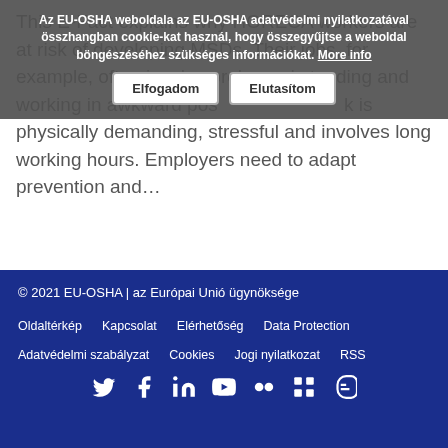This E-Fact explains why HORECA workers are at risk of developing MSDs. Their jobs, for example, often involve prolonged standing and working in awkward positions. This work is physically demanding, stressful and involves long working hours. Employers need to adapt prevention and...
Cookie overlay: Az EU-OSHA weboldala az EU-OSHA adatvédelmi nyilatkozatával összhangban cookie-kat használ, hogy összegyűjtse a weboldal böngészéséhez szükséges információkat. More info [Elfogadom] [Elutasítom]
További tudnivalók →
© 2021 EU-OSHA | az Európai Unió ügynöksége
Oldaltérkép Kapcsolat Elérhetőség Data Protection
Adatvédelmi szabályzat Cookies Jogi nyilatkozat RSS
[social icons: Twitter, Facebook, LinkedIn, YouTube, Flickr, other, Blogger]